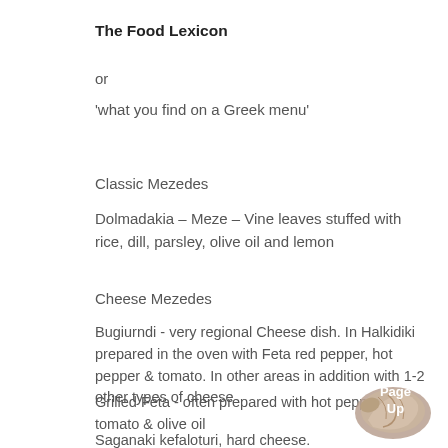The Food Lexicon
or
'what you find on a Greek menu'
Classic Mezedes
Dolmadakia – Meze – Vine leaves stuffed with rice, dill, parsley, olive oil and lemon
Cheese Mezedes
Bugiurndi - very regional Cheese dish. In Halkidiki prepared in the oven with Feta red pepper, hot pepper & tomato. In other areas in addition with 1-2 other types of cheese
Grilled Feta - often prepared with hot pepper tomato & olive oil
Saganaki kefaloturi, hard cheese. Often served &
Mpatso saganaki - half hard cheese, mainly served fried